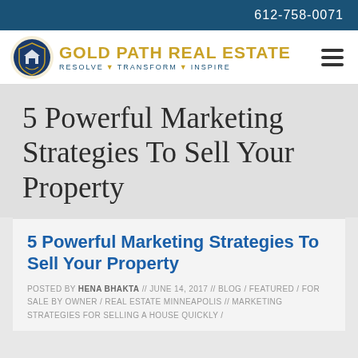612-758-0071
[Figure (logo): Gold Path Real Estate logo with crest/shield icon and tagline RESOLVE TRANSFORM INSPIRE]
5 Powerful Marketing Strategies To Sell Your Property
5 Powerful Marketing Strategies To Sell Your Property
POSTED BY HENA BHAKTA // JUNE 14, 2017 // BLOG / FEATURED / FOR SALE BY OWNER / REAL ESTATE MINNEAPOLIS // MARKETING STRATEGIES FOR SELLING A HOUSE QUICKLY /